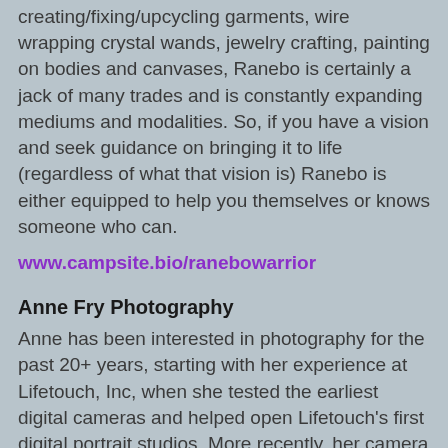creating/fixing/upcycling garments, wire wrapping crystal wands, jewelry crafting, painting on bodies and canvases, Ranebo is certainly a jack of many trades and is constantly expanding mediums and modalities. So, if you have a vision and seek guidance on bringing it to life (regardless of what that vision is) Ranebo is either equipped to help you themselves or knows someone who can.
www.campsite.bio/ranebowarrior
Anne Fry Photography
Anne has been interested in photography for the past 20+ years, starting with her experience at Lifetouch, Inc, when she tested the earliest digital cameras and helped open Lifetouch's first digital portrait studios. More recently, her camera has turned to photo booths, nature, and cosplayers. She especially enjoys capturing others at photo booths, helping them record memories of their night